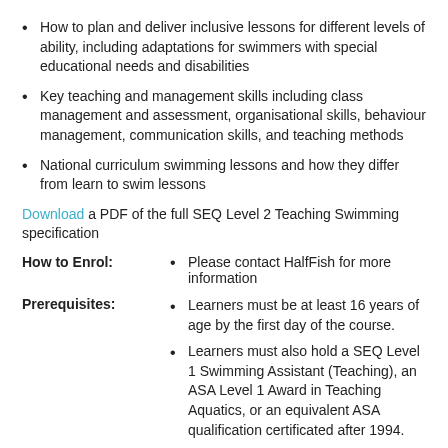How to plan and deliver inclusive lessons for different levels of ability, including adaptations for swimmers with special educational needs and disabilities
Key teaching and management skills including class management and assessment, organisational skills, behaviour management, communication skills, and teaching methods
National curriculum swimming lessons and how they differ from learn to swim lessons
Download a PDF of the full SEQ Level 2 Teaching Swimming specification
How to Enrol: Please contact HalfFish for more information
Prerequisites: Learners must be at least 16 years of age by the first day of the course. Learners must also hold a SEQ Level 1 Swimming Assistant (Teaching), an ASA Level 1 Award in Teaching Aquatics, or an equivalent ASA qualification certificated after 1994.